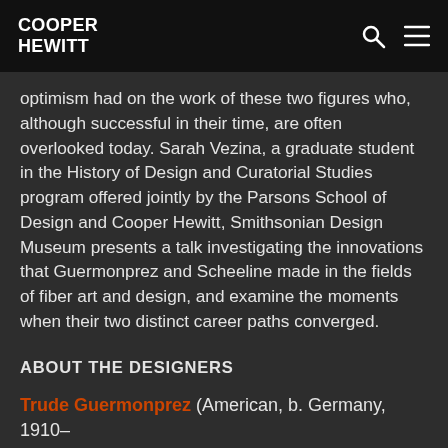COOPER HEWITT
optimism had on the work of these two figures who, although successful in their time, are often overlooked today. Sarah Vezina, a graduate student in the History of Design and Curatorial Studies program offered jointly by the Parsons School of Design and Cooper Hewitt, Smithsonian Design Museum presents a talk investigating the innovations that Guermonprez and Scheeline made in the fields of fiber art and design, and examine the moments when their two distinct career paths converged.
ABOUT THE DESIGNERS
Trude Guermonprez (American, b. Germany, 1910–1976)